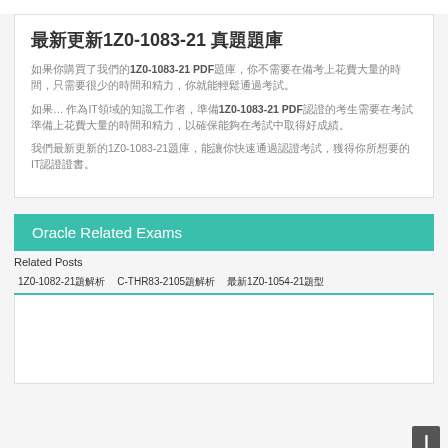最新更新1Z0-1083-21 真題題庫
如果你購買了我們的1Z0-1083-21 PDF題庫，你不需要在備考上花費大量的時間，只需要很少的時間和精力，你就能輕鬆通過考試。
如果... 作為IT領域的知識工作者，準備1Z0-1083-21 PDF認證的考生需要在考試準備上花費大量的時間和精力，以確保能夠在考試中取得好成績。
我們最新更新的1Z0-1083-21題庫，能讓你快速通過認證考試，獲得你所想要的IT認證證書。
Oracle Related Exams
Related Posts
1Z0-1082-21題解析	C-THR83-2105題解析	最新1Z0-1054-21題型